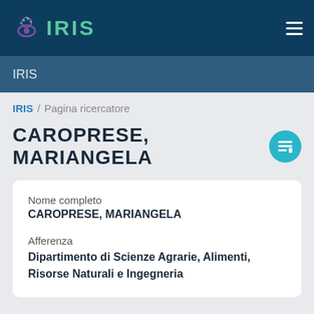IRIS
IRIS
IRIS / Pagina ricercatore
CAROPRESE, MARIANGELA
Nome completo
CAROpRESE, MARIANGELA

Afferenza
Dipartimento di Scienze Agrarie, Alimenti, Risorse Naturali e Ingegneria